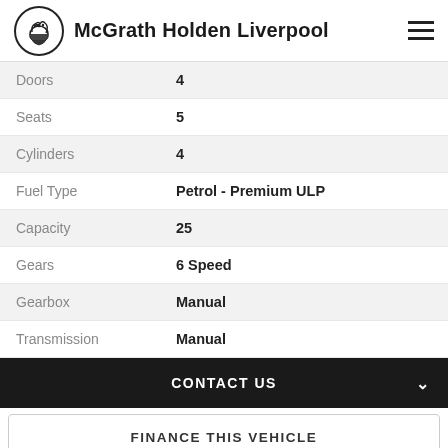McGrath Holden Liverpool
| Spec | Value |
| --- | --- |
| Doors | 4 |
| Seats | 5 |
| Cylinders | 4 |
| Fuel Type | Petrol - Premium ULP |
| Capacity | 25 |
| Gears | 6 Speed |
| Gearbox | Manual |
| Transmission | Manual |
CONTACT US
FINANCE THIS VEHICLE